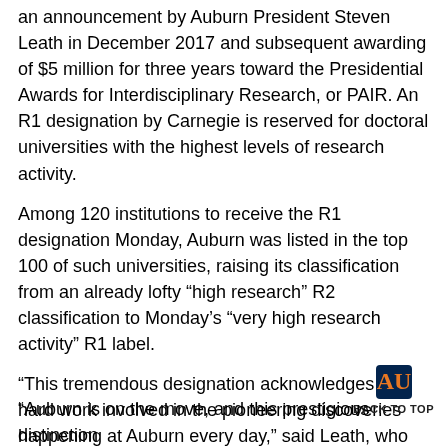an announcement by Auburn President Steven Leath in December 2017 and subsequent awarding of $5 million for three years toward the Presidential Awards for Interdisciplinary Research, or PAIR. An R1 designation by Carnegie is reserved for doctoral universities with the highest levels of research activity.
Among 120 institutions to receive the R1 designation Monday, Auburn was listed in the top 100 of such universities, raising its classification from an already lofty “high research” R2 classification to Monday’s “very high research activity” R1 label.
“This tremendous designation acknowledges the hard work involved in the pioneering discoveries happening at Auburn every day,” said Leath, who was recently named one of seven new members appointed by President Trump to the National Science Board, a policy-making body of the National Science Foundation. “We are grateful to the university’s faculty and staff, especially Graduate School Dean George Flowers, for their unwavering commitment to elevating Auburn’s profile as a world-class academic institution.
[Figure (logo): Auburn University logo (AU shield) with BACK TO TOP text]
“Auburn is on the move, and this prestigious distinction